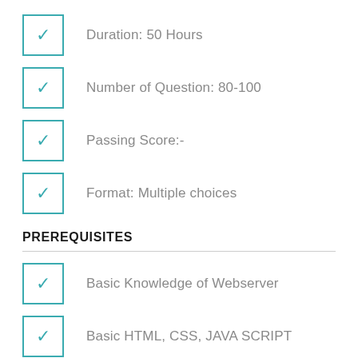Duration: 50 Hours
Number of Question: 80-100
Passing Score:-
Format: Multiple choices
PREREQUISITES
Basic Knowledge of Webserver
Basic HTML, CSS, JAVA SCRIPT